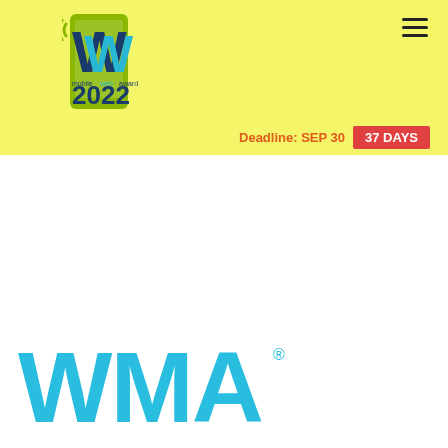[Figure (logo): Mobile Web Award 2022 logo with yellow-green background, stylized 'W' letters in blue and teal, 'mobilewebaward' text, and '2022' in dark blue]
Deadline: SEP 30
37 DAYS
[Figure (logo): WMA wordmark in large cyan/light blue letters with registered trademark symbol]